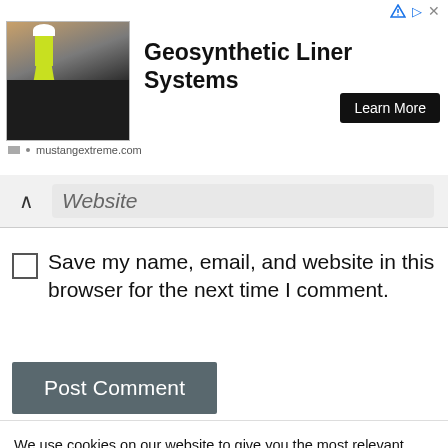[Figure (screenshot): Advertisement banner for Geosynthetic Liner Systems by mustangextreme.com with a photo of a worker on a black liner, bold title text, and a Learn More button]
Website
Save my name, email, and website in this browser for the next time I comment.
Post Comment
We use cookies on our website to give you the most relevant experience by remembering your preferences and repeat visits. By clicking “Accept All”, you consent to the use of ALL the cookies. However, you may visit "Cookie Settings" to provide a controlled consent.
Cookie Settings
Accept All